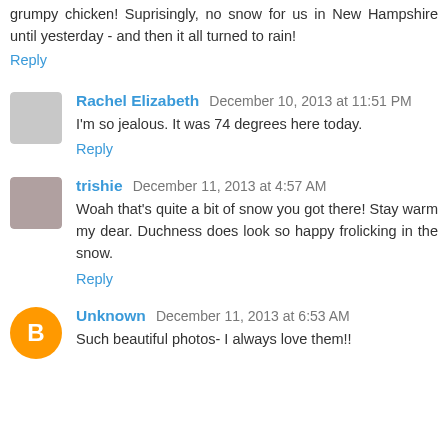grumpy chicken! Suprisingly, no snow for us in New Hampshire until yesterday - and then it all turned to rain!
Reply
Rachel Elizabeth  December 10, 2013 at 11:51 PM
I'm so jealous. It was 74 degrees here today.
Reply
trishie  December 11, 2013 at 4:57 AM
Woah that's quite a bit of snow you got there! Stay warm my dear. Duchness does look so happy frolicking in the snow.
Reply
Unknown  December 11, 2013 at 6:53 AM
Such beautiful photos- I always love them!!